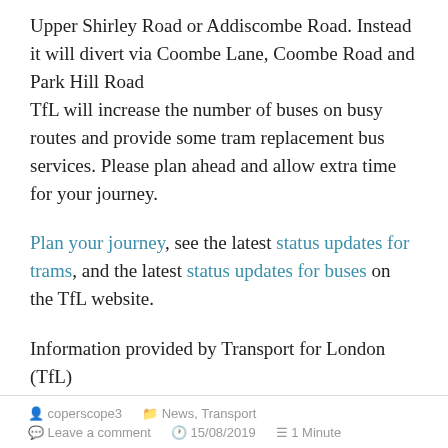Upper Shirley Road or Addiscombe Road. Instead it will divert via Coombe Lane, Coombe Road and Park Hill Road
TfL will increase the number of buses on busy routes and provide some tram replacement bus services. Please plan ahead and allow extra time for your journey.
Plan your journey, see the latest status updates for trams, and the latest status updates for buses on the TfL website.
Information provided by Transport for London (TfL)
coperscope3   News, Transport   Leave a comment   15/08/2019   1 Minute